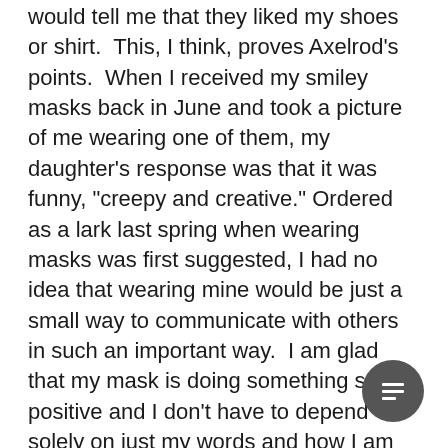would tell me that they liked my shoes or shirt.  This, I think, proves Axelrod's points.  When I received my smiley masks back in June and took a picture of me wearing one of them, my daughter's response was that it was funny, "creepy and creative." Ordered as a lark last spring when wearing masks was first suggested, I had no idea that wearing mine would be just a small way to communicate with others in such an important way.  I am glad that my mask is doing something so positive and I don't have to depend solely on just my words and how I am delivering them.  If you are interested in getting some for yourself, here is the link to Printerpix where I got mine.
https://www.printerpix.com/personalize